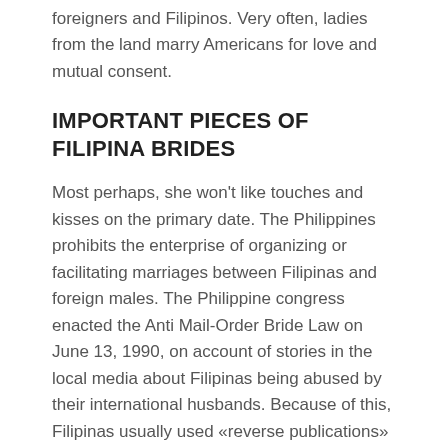There were virtually no problems in relations between foreigners and Filipinos. Very often, ladies from the land marry Americans for love and mutual consent.
IMPORTANT PIECES OF FILIPINA BRIDES
Most perhaps, she won't like touches and kisses on the primary date. The Philippines prohibits the enterprise of organizing or facilitating marriages between Filipinas and foreign males. The Philippine congress enacted the Anti Mail-Order Bride Law on June 13, 1990, on account of stories in the local media about Filipinas being abused by their international husbands. Because of this, Filipinas usually used «reverse publications» – publications during which males promote themselves – to contact international males for marriage to Filipina girls.